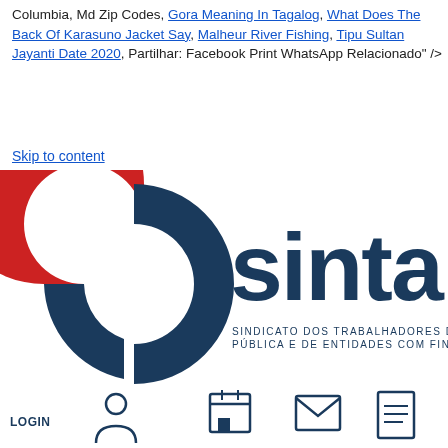Columbia, Md Zip Codes, Gora Meaning In Tagalog, What Does The Back Of Karasuno Jacket Say, Malheur River Fishing, Tipu Sultan Jayanti Date 2020, Partilhar: Facebook Print WhatsApp Relacionado" />
Skip to content
[Figure (logo): SINTAP logo with red and dark blue circular icon and text 'sintap' and 'SINDICATO DOS TRABALHADORES DA ADMINISTRAÇÃO PÚBLICA E DE ENTIDADES COM FINS PÚBLICOS']
[Figure (infographic): Navigation icons row: LOGIN person icon, calendar icon, envelope icon, document icon, link icon]
SINTAP
ESTATUTOS
DATAS HISTÓRICAS
ORGÃOS
COMISSÃO EXECUTIVA